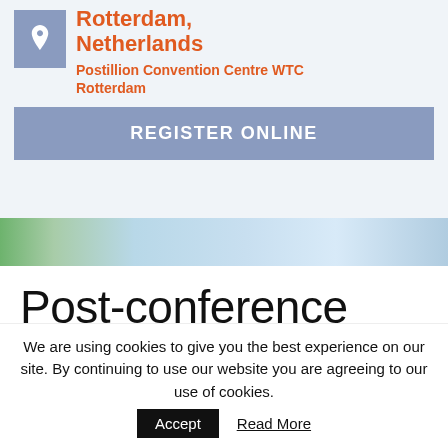[Figure (screenshot): Location block showing a map pin icon in a blue-grey box, with 'Rotterdam, Netherlands' in orange bold text and 'Postillion Convention Centre WTC Rotterdam' below it in orange bold text]
REGISTER ONLINE
[Figure (photo): Decorative banner image strip with green and blue blurred background, suggesting a scientific/conference theme]
Post-conference
We are using cookies to give you the best experience on our site. By continuing to use our website you are agreeing to our use of cookies.
Accept
Read More